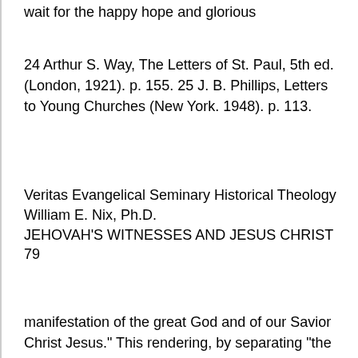wait for the happy hope and glorious
24 Arthur S. Way, The Letters of St. Paul, 5th ed. (London, 1921). p. 155. 25 J. B. Phillips, Letters to Young Churches (New York. 1948). p. 113.
Veritas Evangelical Seminary Historical Theology
William E. Nix, Ph.D.
JEHOVAH'S WITNESSES AND JESUS CHRIST
79
manifestation of the great God and of our Savior Christ Jesus.” This rendering, by separating “the great God” from “our Savior Christ Jesus,” overlooks a principle of Greek grammar which was detected and formulated in a rule by Granville Sharp in 1798. This rule, in brief, is that when the copulative kaiv connects two nouns of the same